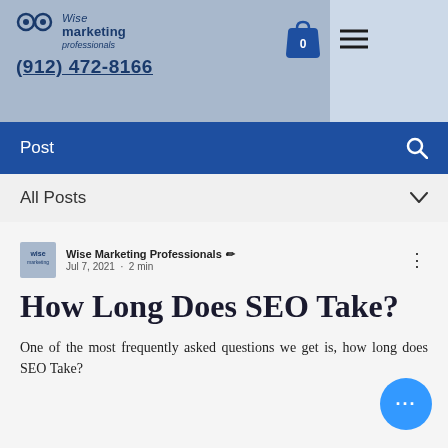[Figure (logo): Wise Marketing Professionals logo with two circle eyes icon and company name in blue text]
(912) 472-8166
[Figure (infographic): Shopping bag icon with 0 and hamburger menu icon in the header navigation]
Post
All Posts
Wise Marketing Professionals · Jul 7, 2021 · 2 min
How Long Does SEO Take?
One of the most frequently asked questions we get is, how long does SEO Take?